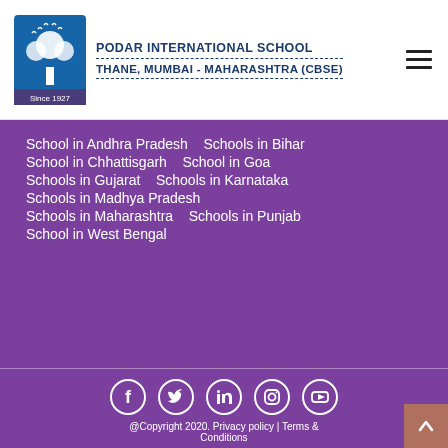PODAR INTERNATIONAL SCHOOL
THANE, MUMBAI - MAHARASHTRA (CBSE)
School in Andhra Pradesh
Schools in Bihar
School in Chhattisgarh
School in Goa
Schools in Gujarat
Schools in Karnataka
Schools in Madhya Pradesh
Schools in Maharashtra
Schools in Punjab
School in West Bengal
[Figure (illustration): Social media icons: Facebook, Twitter, LinkedIn, Instagram, YouTube]
@Copyright 2020. Privacy policy | Terms & Conditions